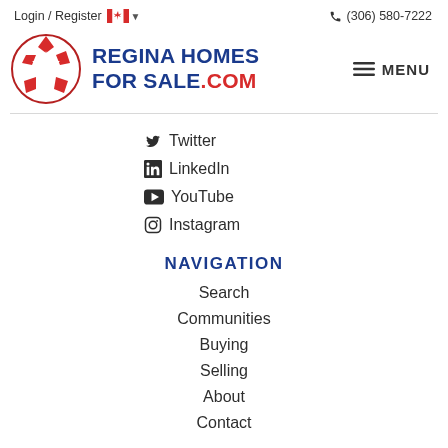Login / Register  🍁  ▾   (306) 580-7222
[Figure (logo): Regina Homes For Sale .COM logo with red star pentagon emblem]
Twitter
LinkedIn
YouTube
Instagram
NAVIGATION
Search
Communities
Buying
Selling
About
Contact